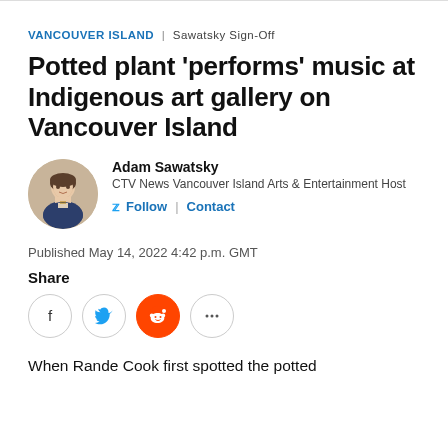VANCOUVER ISLAND | Sawatsky Sign-Off
Potted plant 'performs' music at Indigenous art gallery on Vancouver Island
Adam Sawatsky
CTV News Vancouver Island Arts & Entertainment Host
Follow | Contact
Published May 14, 2022 4:42 p.m. GMT
Share
When Rande Cook first spotted the potted